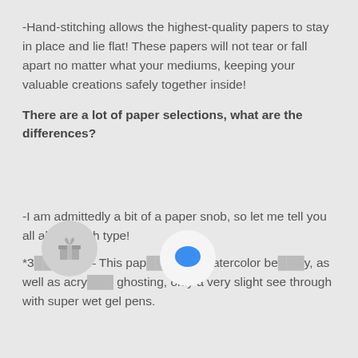-Hand-stitching allows the highest-quality papers to stay in place and lie flat! These papers will not tear or fall apart no matter what your mediums, keeping your valuable creations safely together inside!
There are a lot of paper selections, what are the differences?
-I am admittedly a bit of a paper snob, so let me tell you all about each type!
*3[...] mium – This pap[...] lles watercolor bea[...] y, as well as acry[...] ghosting, only a very slight see through with super wet gel pens.